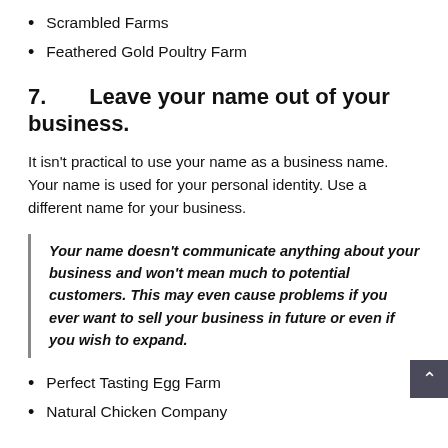Scrambled Farms
Feathered Gold Poultry Farm
7.      Leave your name out of your business.
It isn't practical to use your name as a business name. Your name is used for your personal identity. Use a different name for your business.
Your name doesn't communicate anything about your business and won't mean much to potential customers. This may even cause problems if you ever want to sell your business in future or even if you wish to expand.
Perfect Tasting Egg Farm
Natural Chicken Company